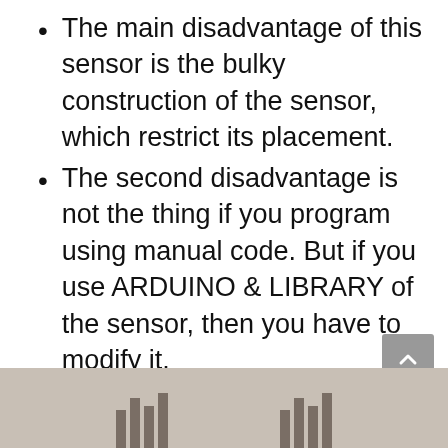The main disadvantage of this sensor is the bulky construction of the sensor, which restrict its placement.
The second disadvantage is not the thing if you program using manual code. But if you use ARDUINO & LIBRARY of the sensor, then you have to modify it.
This ultrasonic sensor have some limitation. it can't work with the more distance
[Figure (photo): Bottom portion of a page showing a gray/beige background with two groups of vertical bar-like elements resembling ultrasonic sensor pins or similar hardware components.]